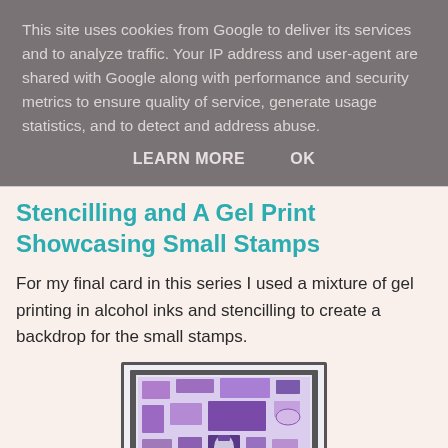This site uses cookies from Google to deliver its services and to analyze traffic. Your IP address and user-agent are shared with Google along with performance and security metrics to ensure quality of service, generate usage statistics, and to detect and address abuse.
LEARN MORE    OK
Stencilling and A Gel Print Showcasing Small Stamps
For my final card in this series I used a mixture of gel printing in alcohol inks and stencilling to create a backdrop for the small stamps.
[Figure (photo): A handmade greeting card with a lavender/purple gel print background featuring rectangular stamp shapes arranged in a grid-like pattern with purple tones and a small jar stamp image visible.]